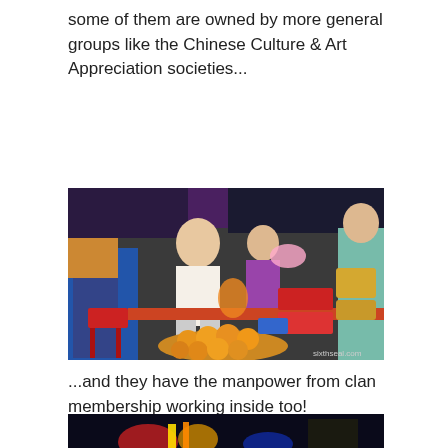some of them are owned by more general groups like the Chinese Culture & Art Appreciation societies...
[Figure (photo): Outdoor market food stall scene with a man in white polo shirt handling items, women in purple aprons, food displayed including a basket of round orange fruits, and red boxes of goods on the table. Watermark: sixthseal.com]
...and they have the manpower from clan membership working inside too!
[Figure (photo): Partially visible night scene image showing colorful lights and decorations]